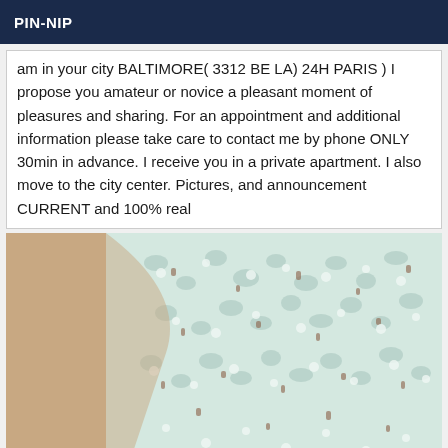PIN-NIP
am in your city BALTIMORE( 3312 BE LA) 24H PARIS ) I propose you amateur or novice a pleasant moment of pleasures and sharing. For an appointment and additional information please take care to contact me by phone ONLY 30min in advance. I receive you in a private apartment. I also move to the city center. Pictures, and announcement CURRENT and 100% real
[Figure (photo): Close-up photo of white lace fabric with floral pattern over skin-toned background]